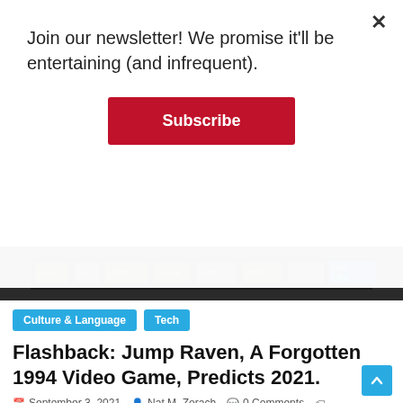Join our newsletter! We promise it'll be entertaining (and infrequent).
Subscribe
[Figure (screenshot): Game screenshot strip showing a retro video game interface with CASH 240 displayed]
Culture & Language  Tech
Flashback: Jump Raven, A Forgotten 1994 Video Game, Predicts 2021.
September 3, 2021  Nat M. Zorach  0 Comments
1994, biodiversity, climate change, cyborg, cyborgs, disaster, doom, duke nukem, dystopia, dystopian, dystopian future, freeware, hurricane ida, hypercard, james cameron, jump raven, lunicus, moxy fruvous, new york city flooding, new york city subway flooding, quake, robots, rush limbaugh, sea level rise, shareware, storms, supercard, titanic adventure out of time, video games, william appleton